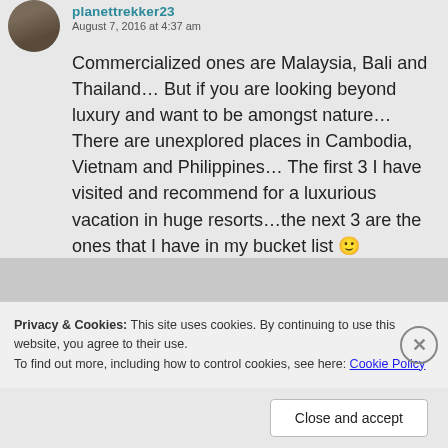planettrekker23
August 7, 2016 at 4:37 am
Commercialized ones are Malaysia, Bali and Thailand… But if you are looking beyond luxury and want to be amongst nature… There are unexplored places in Cambodia, Vietnam and Philippines… The first 3 I have visited and recommend for a luxurious vacation in huge resorts…the next 3 are the ones that I have in my bucket list 🙂
Privacy & Cookies: This site uses cookies. By continuing to use this website, you agree to their use.
To find out more, including how to control cookies, see here: Cookie Policy
Close and accept